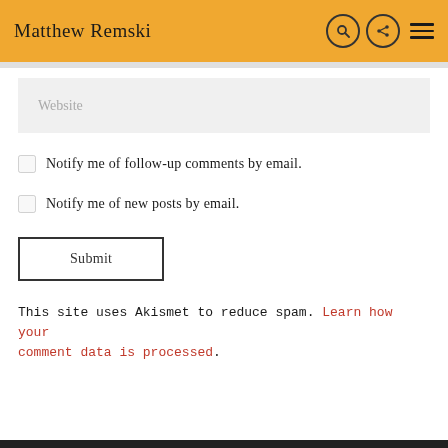Matthew Remski
Website
Notify me of follow-up comments by email.
Notify me of new posts by email.
Submit
This site uses Akismet to reduce spam. Learn how your comment data is processed.